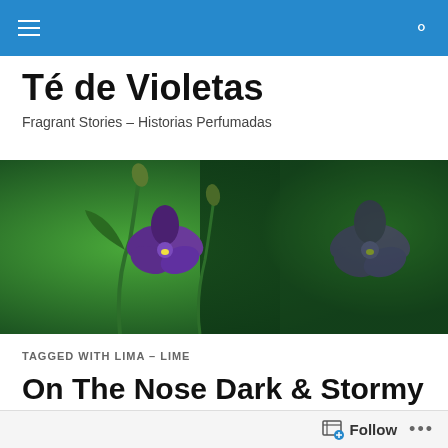Navigation bar with hamburger menu and search icon
Té de Violetas
Fragrant Stories – Historias Perfumadas
[Figure (photo): Close-up photograph of purple violet flowers with green stems and buds against a blurred green background]
TAGGED WITH LIMA – LIME
On The Nose Dark & Stormy – Oscuridad dulce y narcótica
Follow ...